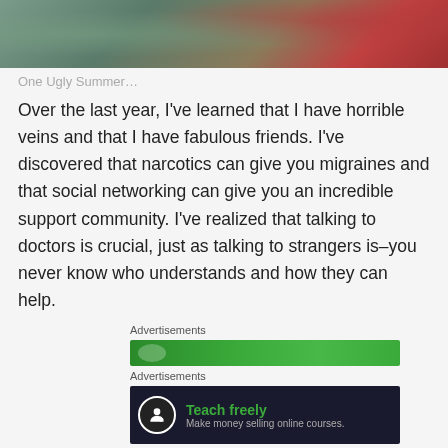[Figure (photo): Partial photo of a person at what appears to be a beach or outdoor setting, with a red clothing item visible on the right side.]
One Ugly Summer…
Over the last year, I've learned that I have horrible veins and that I have fabulous friends. I've discovered that narcotics can give you migraines and that social networking can give you an incredible support community. I've realized that talking to doctors is crucial, just as talking to strangers is–you never know who understands and how they can help.
Advertisements
[Figure (screenshot): Green advertisement banner, partially visible.]
Advertisements
[Figure (screenshot): Dark advertisement banner with icon showing 'Teach freely – Make money selling online courses.']